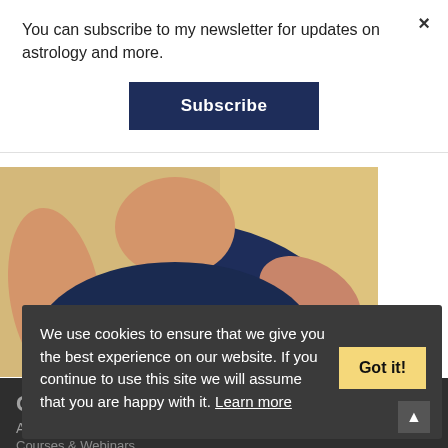You can subscribe to my newsletter for updates on astrology and more.
Subscribe
[Figure (photo): Partial photo of a person wearing a navy blue sleeveless top against a warm yellow/gold background, showing torso and arms.]
OFFERINGS
We use cookies to ensure that we give you the best experience on our website. If you continue to use this site we will assume that you are happy with it. Learn more
Got it!
Astrology Consults
Courses & Webinars